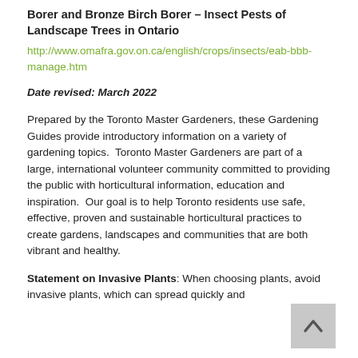Borer and Bronze Birch Borer – Insect Pests of Landscape Trees in Ontario
http://www.omafra.gov.on.ca/english/crops/insects/eab-bbb-manage.htm
Date revised: March 2022
Prepared by the Toronto Master Gardeners, these Gardening Guides provide introductory information on a variety of gardening topics.  Toronto Master Gardeners are part of a large, international volunteer community committed to providing the public with horticultural information, education and inspiration.  Our goal is to help Toronto residents use safe, effective, proven and sustainable horticultural practices to create gardens, landscapes and communities that are both vibrant and healthy.
Statement on Invasive Plants: When choosing plants, avoid invasive plants, which can spread quickly and